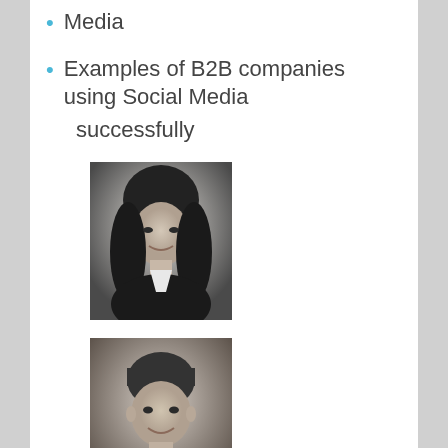Media
Examples of B2B companies using Social Media successfully
[Figure (photo): Black and white professional headshot of a young woman with long dark hair, smiling, wearing a dark jacket]
[Figure (photo): Black and white professional headshot of a middle-aged man with short hair, smiling, wearing a dark suit and tie]